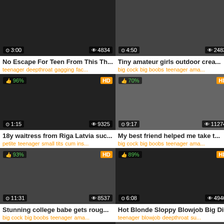[Figure (screenshot): Video thumbnail row 1 left, duration 3:00, views 4834]
No Escape For Teen From This Th...
teenager deepthroat gagging fac...
[Figure (screenshot): Video thumbnail row 1 right, duration 4:50, views 2483]
Tiny amateur girls outdoor crea...
big cock big boobs teenager ama...
[Figure (screenshot): Video thumbnail row 2 left, 96%, HD, duration 1:15, views 9325]
18y waitress from Riga Latvia suc...
petite teenager small tits cum ins...
[Figure (screenshot): Video thumbnail row 2 right, 70%, HD, duration 9:17, views 11274]
My best friend helped me take t...
big cock big boobs teenager ama...
[Figure (screenshot): Video thumbnail row 3 left, 93%, HD, duration 11:31, views 8537]
Stunning college babe gets roug...
big cock big boobs teenager ama...
[Figure (screenshot): Video thumbnail row 3 right, 89%, HD, duration 6:08, views 4946]
Hot Blonde Sloppy Blowjob Big Di...
teenager blowjob deepthroat su...
[Figure (screenshot): Video thumbnail row 4 left partial, 89%, HD]
[Figure (screenshot): Video thumbnail row 4 right partial, 93%]